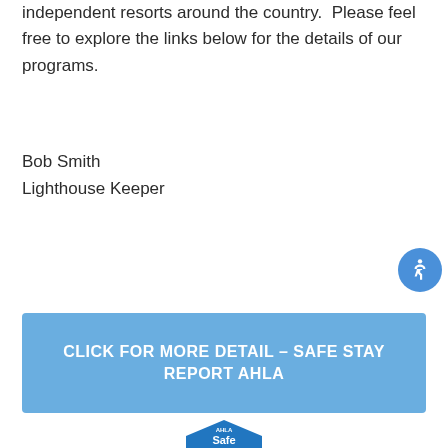independent resorts around the country.  Please feel free to explore the links below for the details of our programs.
Bob Smith
Lighthouse Keeper
[Figure (other): Blue circular accessibility icon button with a person figure in white]
CLICK FOR MORE DETAIL – SAFE STAY REPORT AHLA
[Figure (logo): AHLA Safe Stay logo — blue house/pentagon shape with 'AHLA' text above and 'Safe' text inside]